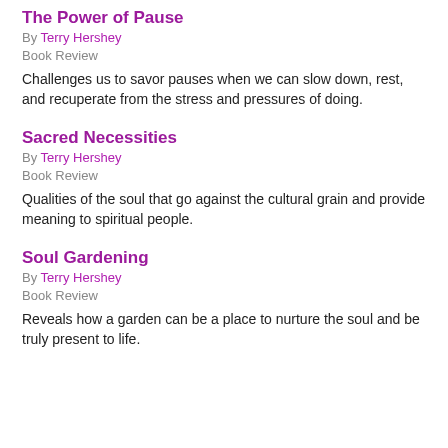The Power of Pause
By Terry Hershey
Book Review
Challenges us to savor pauses when we can slow down, rest, and recuperate from the stress and pressures of doing.
Sacred Necessities
By Terry Hershey
Book Review
Qualities of the soul that go against the cultural grain and provide meaning to spiritual people.
Soul Gardening
By Terry Hershey
Book Review
Reveals how a garden can be a place to nurture the soul and be truly present to life.